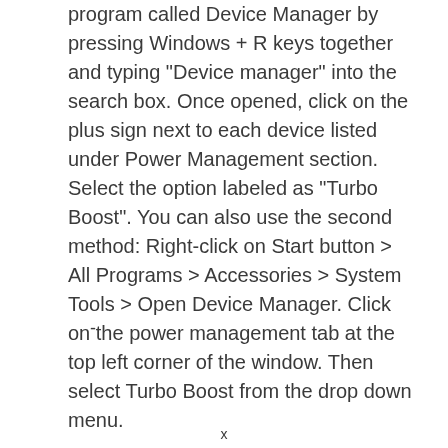program called Device Manager by pressing Windows + R keys together and typing “Device manager” into the search box. Once opened, click on the plus sign next to each device listed under Power Management section. Select the option labeled as “Turbo Boost”. You can also use the second method: Right-click on Start button > All Programs > Accessories > System Tools > Open Device Manager. Click on the power management tab at the top left corner of the window. Then select Turbo Boost from the drop down menu.
-
x